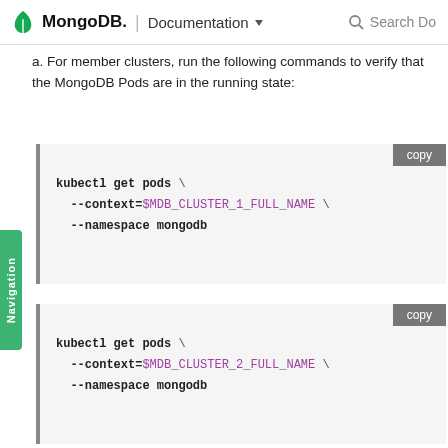MongoDB | Documentation  Search Do
a. For member clusters, run the following commands to verify that the MongoDB Pods are in the running state:
[Figure (screenshot): Code block 1: kubectl get pods \ --context=$MDB_CLUSTER_1_FULL_NAME \ --namespace mongodb]
[Figure (screenshot): Code block 2: kubectl get pods \ --context=$MDB_CLUSTER_2_FULL_NAME \ --namespace mongodb]
[Figure (screenshot): Code block 3: kubectl get pods \ (partial, cut off at bottom)]